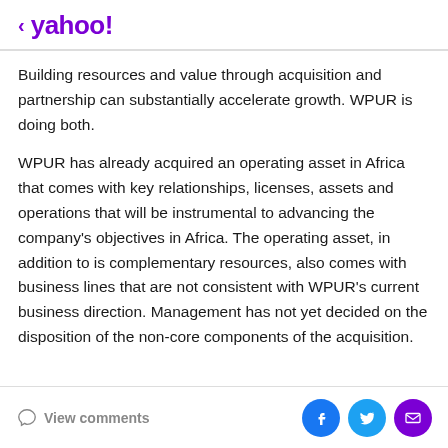< yahoo!
Building resources and value through acquisition and partnership can substantially accelerate growth. WPUR is doing both.
WPUR has already acquired an operating asset in Africa that comes with key relationships, licenses, assets and operations that will be instrumental to advancing the company's objectives in Africa. The operating asset, in addition to is complementary resources, also comes with business lines that are not consistent with WPUR's current business direction. Management has not yet decided on the disposition of the non-core components of the acquisition.
View comments